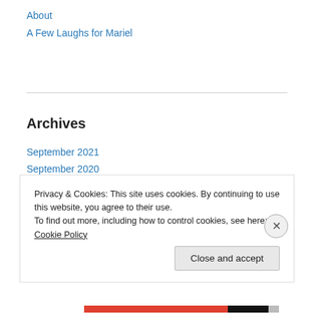About
A Few Laughs for Mariel
Archives
September 2021
September 2020
September 2019
September 2018
September 2017
September 2016
September 2015
Privacy & Cookies: This site uses cookies. By continuing to use this website, you agree to their use.
To find out more, including how to control cookies, see here: Cookie Policy
Close and accept